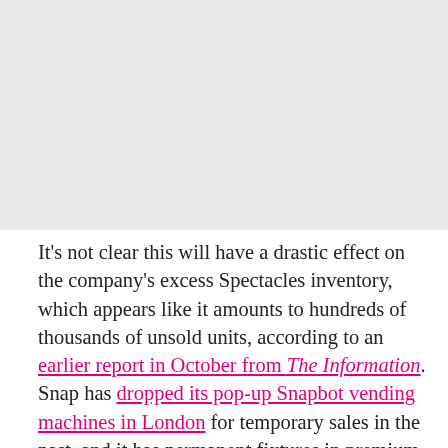[Figure (photo): Photograph or image placeholder at the top of the page]
It's not clear this will have a drastic effect on the company's excess Spectacles inventory, which appears like it amounts to hundreds of thousands of unsold units, according to an earlier report in October from The Information. Snap has dropped its pop-up Snapbot vending machines in London for temporary sales in the past, and it has permanent fixtures in premium London department stores Harrods, John Lewis, and Selfridges. But it's likely Snapchat users who really want Spectacles already own them. So unless Snap decides to lower the price on the device, which still retails for $130 or